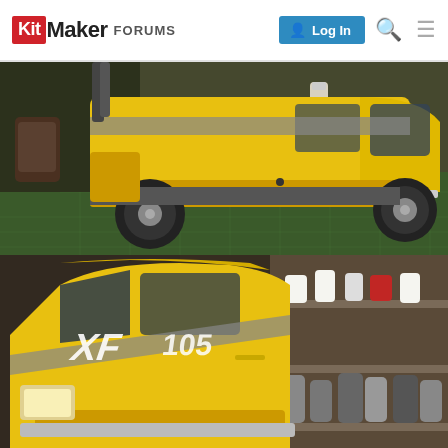KitMaker FORUMS | Log In
[Figure (photo): Side view of a yellow DAF XF105 scale model truck (tractor unit) on a green cutting mat in a modelling workspace. The truck body is bright yellow with grey/silver trim stripes, black wheels, chrome step plates and a silver front bumper bar. Background shows modelling supplies, paint bottles, and tools.]
[Figure (photo): Three-quarter front view of the same yellow DAF XF105 scale model truck cab showing the 'XF 105' decal in silver/white on the cab side. Background shows shelves with paint jars, bottles and modelling supplies in a workshop setting.]